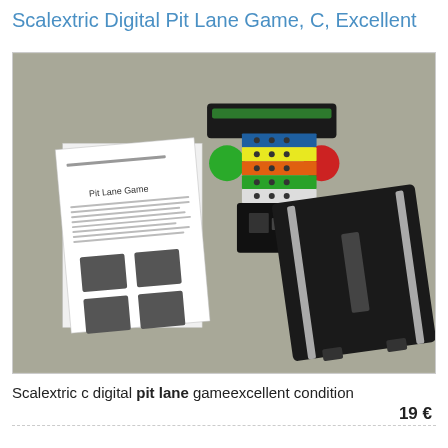Scalextric Digital Pit Lane Game, C, Excellent
[Figure (photo): Photo of Scalextric Digital Pit Lane Game components: instruction manual, colorful button controller unit, and black track piece, laid on a grey surface.]
Scalextric c digital pit lane gameexcellent condition
19 €